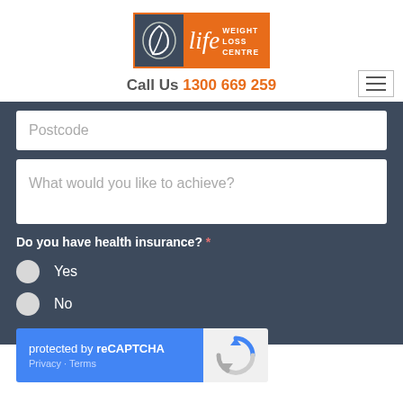[Figure (logo): LYC Weight Loss Centre logo: left panel dark blue-grey with leaf/swirl icon, right panel orange with stylized 'life' script text and 'WEIGHT LOSS CENTRE' words in white]
Call Us 1300 669 259
Postcode
What would you like to achieve?
Do you have health insurance? *
Yes
No
protected by reCAPTCHA
Privacy · Terms